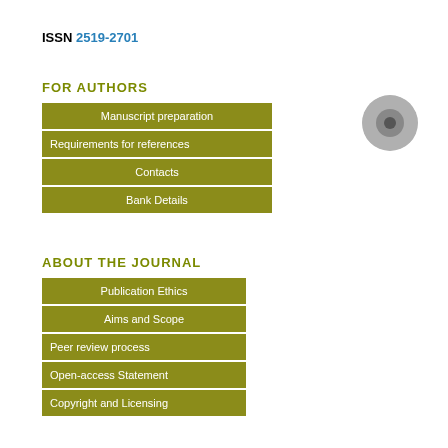ISSN 2519-2701
FOR AUTHORS
Manuscript preparation
Requirements for references
Contacts
Bank Details
ABOUT THE JOURNAL
Publication Ethics
Aims and Scope
Peer review process
Open-access Statement
Copyright and Licensing